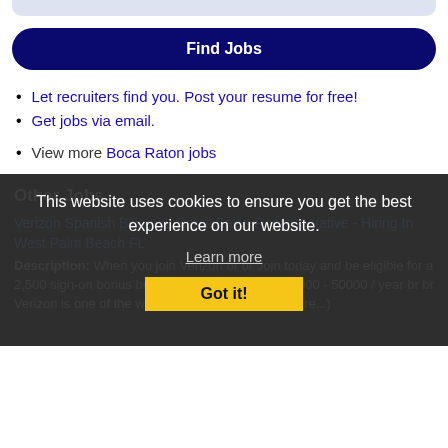[Figure (screenshot): Top bar / header strip in light blue-grey]
Find Jobs
Let recruiters find you. Post your resume for free!
Get jobs via email.
View more Boca Raton jobs
Other Jobs
Verizon Spanish Bilingual Retail Sales Representative - Hiring In West Palm Beach FL
Description: When you join Verizon br br Join today and be eligible for a 2,500 sign-on bonus br br Join today and earn 43000 - 50000 / year br br Verizon is one of the world's leading providers (more...)
This website uses cookies to ensure you get the best experience on our website.
Learn more
Got it!